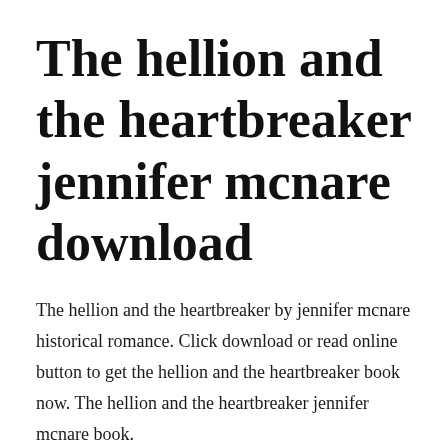The hellion and the heartbreaker jennifer mcnare download
The hellion and the heartbreaker by jennifer mcnare historical romance. Click download or read online button to get the hellion and the heartbreaker book now. The hellion and the heartbreaker jennifer mcnare book.